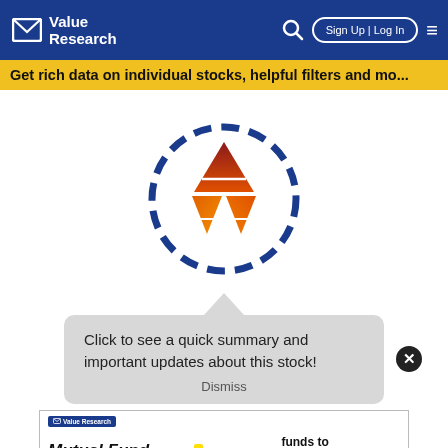Value Research — Navigation bar with Sign Up | Log In
Get rich data on individual stocks, helpful filters and mo...
[Figure (logo): Value Research pyramid logo with dashed blue circle surrounding orange triangular pyramid graphic]
Click to see a quick summary and important updates about this stock!
Dismiss
[Figure (infographic): Advertisement banner for Mutual Fund Insight by Value Research showing '8 funds to supercharge your portfolio' with colorful bar graphic and a CLICK HERE TO GET YOUR COPY button]